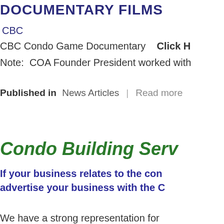DOCUMENTARY FILMS
CBC
CBC Condo Game Documentary   Click H
Note:  COA Founder President worked with
Published in  News Articles  |  Read more
Condo Building Serv
If your business relates to the con advertise your business with the C
We have a strong representation for
A powerful advocacy with a co
Influential and effective media operations within condominium
A wide range of information and
In-depth industry knowledge a